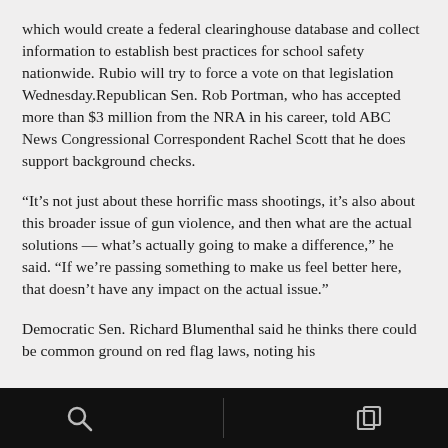which would create a federal clearinghouse database and collect information to establish best practices for school safety nationwide. Rubio will try to force a vote on that legislation Wednesday.Republican Sen. Rob Portman, who has accepted more than $3 million from the NRA in his career, told ABC News Congressional Correspondent Rachel Scott that he does support background checks.
“It’s not just about these horrific mass shootings, it’s also about this broader issue of gun violence, and then what are the actual solutions — what’s actually going to make a difference,” he said. “If we’re passing something to make us feel better here, that doesn’t have any impact on the actual issue.”
Democratic Sen. Richard Blumenthal said he thinks there could be common ground on red flag laws, noting his
[Figure (other): Black navigation/toolbar bar at the bottom with search icon on left and copy/window icon on right, separated by a vertical divider]